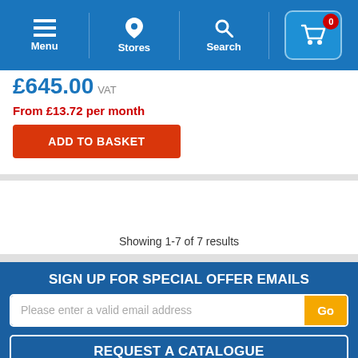Menu | Stores | Search | Basket 0
£645.00 VAT
From £13.72 per month
ADD TO BASKET
Showing 1-7 of 7 results
SIGN UP FOR SPECIAL OFFER EMAILS
Please enter a valid email address
REQUEST A CATALOGUE